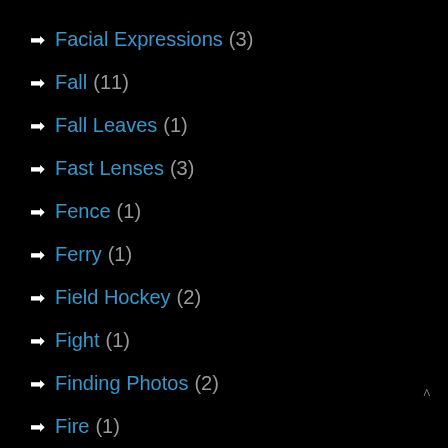➡ Facial Expressions (3)
➡ Fall (11)
➡ Fall Leaves (1)
➡ Fast Lenses (3)
➡ Fence (1)
➡ Ferry (1)
➡ Field Hockey (2)
➡ Fight (1)
➡ Finding Photos (2)
➡ Fire (1)
➡ Fishing (4)
➡ Flash (7)
➡ Flash Cards (3)